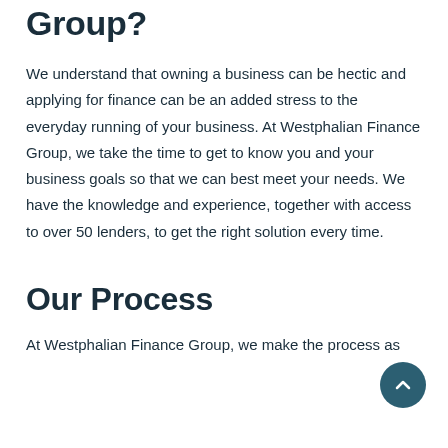Group?
We understand that owning a business can be hectic and applying for finance can be an added stress to the everyday running of your business. At Westphalian Finance Group, we take the time to get to know you and your business goals so that we can best meet your needs. We have the knowledge and experience, together with access to over 50 lenders, to get the right solution every time.
Our Process
At Westphalian Finance Group, we make the process as